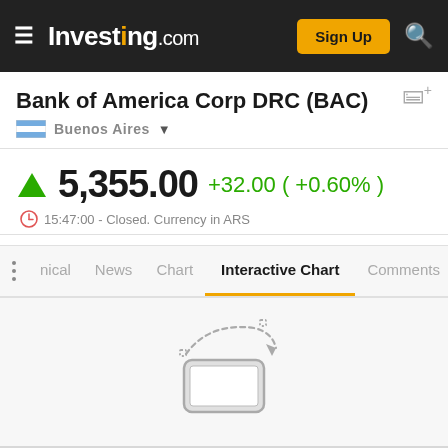Investing.com — Sign Up
Bank of America Corp DRC (BAC)
Buenos Aires
5,355.00 +32.00 ( +0.60% )
15:47:00 - Closed. Currency in ARS
Interactive Chart (tab selected)
[Figure (illustration): Rotate device icon (phone with circular arrow) indicating user should rotate to landscape for interactive chart]